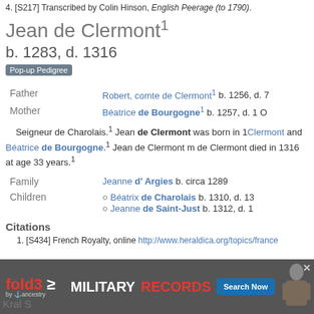4. [S217] Transcribed by Colin Hinson, English Peerage (to 1790).
Jean de Clermont¹
b. 1283, d. 1316
Pop-up Pedigree
|  |  |
| --- | --- |
| Father | Robert, comte de Clermont¹ b. 1256, d. 7 |
| Mother | Béatrice de Bourgogne¹ b. 1257, d. 1 O |
Seigneur de Charolais.¹ Jean de Clermont was born in 1... Clermont and Béatrice de Bourgogne.¹ Jean de Clermont m... de Clermont died in 1316 at age 33 years.¹
|  |  |
| --- | --- |
| Family | Jeanne d' Argies b. circa 1289 |
| Children | Béatrix de Charolais b. 1310, d. 13
Jeanne de Saint-Just b. 1312, d. 1 |
Citations
1. [S434] French Royalty, online http://www.heraldica.org/topics/france